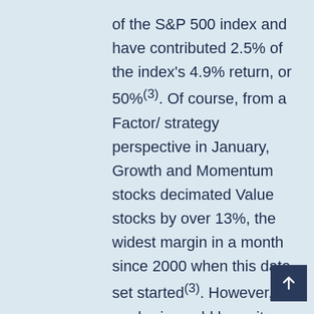of the S&P 500 index and have contributed 2.5% of the index's 4.9% return, or 50%(3). Of course, from a Factor/ strategy perspective in January, Growth and Momentum stocks decimated Value stocks by over 13%, the widest margin in a month since 2000 when this data set started(3). However, this euphoria could be quite fragile as the top-performing sector was Utilities, up 6.65%(2).
So far in February, the Dow Jones